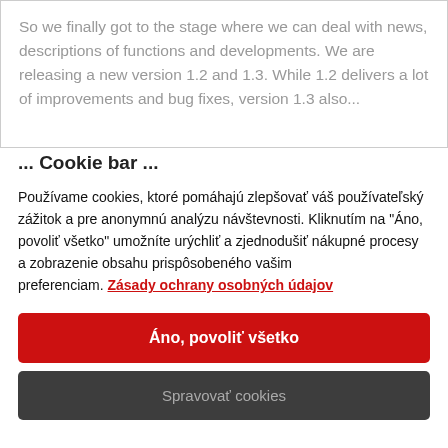So we finally got to the stage where we can deal with news, descriptions of functions and developments. We are releasing a new version 1.2 and 1.3. While 1.2 delivers a lot of improvements and bug fixes, version 1.3 also...
... Cookie bar ...
Používame cookies, ktoré pomáhajú zlepšovať váš používateľský zážitok a pre anonymnú analýzu návštevnosti. Kliknutím na "Áno, povoliť všetko" umožníte urýchliť a zjednodušiť nákupné procesy a zobrazenie obsahu prispôsobeného vašim preferenciam. Zásady ochrany osobných údajov
Áno, povoliť všetko
Spravovať cookies